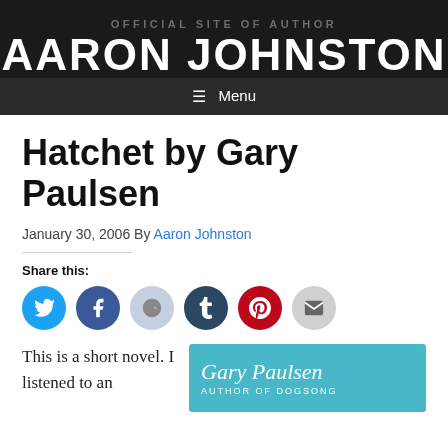OFFICIAL SITE OF AUTHOR
AARON JOHNSTON
Menu
Hatchet by Gary Paulsen
January 30, 2006 By Aaron Johnston
Share this:
[Figure (infographic): Social share buttons: Twitter (blue), Facebook (dark blue), Reddit (light blue), Tumblr (dark teal), Pinterest (red), Email (gray)]
This is a short novel. I listened to an
[Figure (illustration): Book cover image: Gary Paulsen Author of Dogsong, teal/cyan background with author name in italic white text]